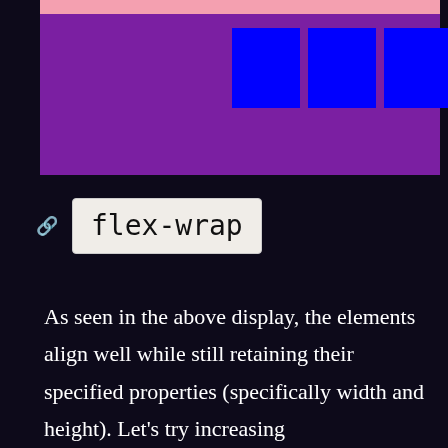[Figure (illustration): A purple rectangular container with a thin pink bar at the top. Inside the container, five blue squares are arranged in a row aligned to the right side, demonstrating CSS flexbox layout behavior.]
flex-wrap
As seen in the above display, the elements align well while still retaining their specified properties (specifically width and height). Let's try increasing